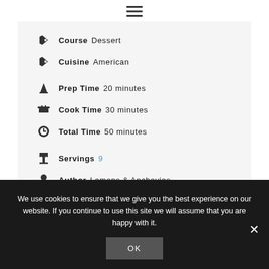[Figure (other): Hamburger menu icon (three horizontal lines)]
Course Dessert
Cuisine American
Prep Time 20 minutes
Cook Time 30 minutes
Total Time 50 minutes
Servings 9
Author Lemons & Anchovies
We use cookies to ensure that we give you the best experience on our website. If you continue to use this site we will assume that you are happy with it.
OK